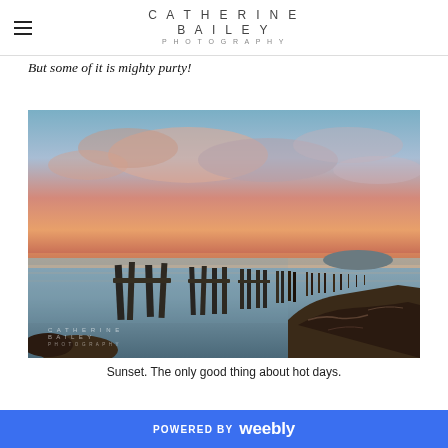CATHERINE BAILEY PHOTOGRAPHY
But some of it is mighty purty!
[Figure (photo): Long-exposure sunset photograph showing old wooden pier posts/pilings extending across calm water, with colorful pink and orange clouds in the sky. Rocky shoreline visible on the right. Catherine Bailey Photography watermark in lower left corner.]
Sunset. The only good thing about hot days.
POWERED BY weebly